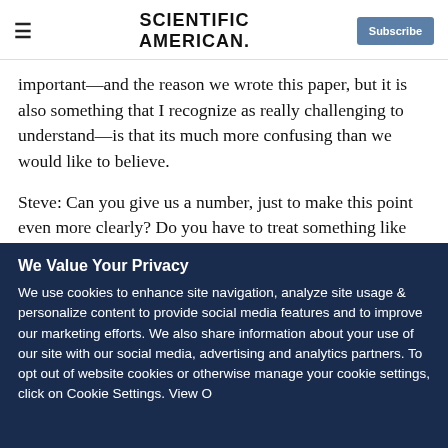SCIENTIFIC AMERICAN
important—and the reason we wrote this paper, but it is also something that I recognize as really challenging to understand—is that its much more confusing than we would like to believe.
Steve: Can you give us a number, just to make this point even more clearly? Do you have to treat something like 6,000 people with high blood pressure in order to get one person who does not have a cardiovascular event
We Value Your Privacy
We use cookies to enhance site navigation, analyze site usage & personalize content to provide social media features and to improve our marketing efforts. We also share information about your use of our site with our social media, advertising and analytics partners. To opt out of website cookies or otherwise manage your cookie settings, click on Cookie Settings. View O